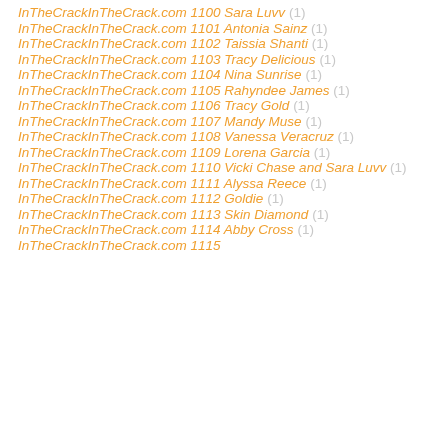InTheCrackInTheCrack.com 1100 Sara Luvv (1)
InTheCrackInTheCrack.com 1101 Antonia Sainz (1)
InTheCrackInTheCrack.com 1102 Taissia Shanti (1)
InTheCrackInTheCrack.com 1103 Tracy Delicious (1)
InTheCrackInTheCrack.com 1104 Nina Sunrise (1)
InTheCrackInTheCrack.com 1105 Rahyndee James (1)
InTheCrackInTheCrack.com 1106 Tracy Gold (1)
InTheCrackInTheCrack.com 1107 Mandy Muse (1)
InTheCrackInTheCrack.com 1108 Vanessa Veracruz (1)
InTheCrackInTheCrack.com 1109 Lorena Garcia (1)
InTheCrackInTheCrack.com 1110 Vicki Chase and Sara Luvv (1)
InTheCrackInTheCrack.com 1111 Alyssa Reece (1)
InTheCrackInTheCrack.com 1112 Goldie (1)
InTheCrackInTheCrack.com 1113 Skin Diamond (1)
InTheCrackInTheCrack.com 1114 Abby Cross (1)
InTheCrackInTheCrack.com 1115 [partially visible] (1)